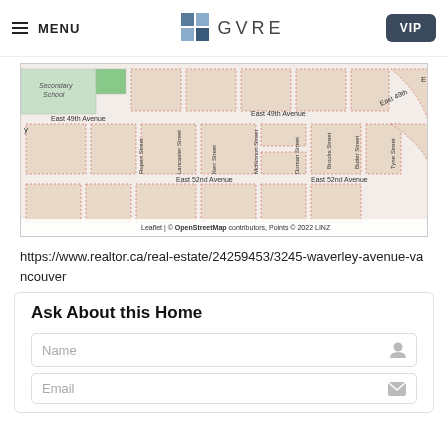MENU | GVRE | VIP
[Figure (map): Street map showing neighborhood near East 49th Avenue and East 52nd Avenue in Vancouver, with streets including Rupert Street, Lancaster Street, Kerr Street, McKinnon Street, Doman Street, Brooks Street, Butler Street, Tyne Street. Leaflet | © OpenStreetMap contributors, Points © 2022 LINZ]
https://www.realtor.ca/real-estate/24259453/3245-waverley-avenue-vancouver
Ask About this Home
Name input field
Email input field